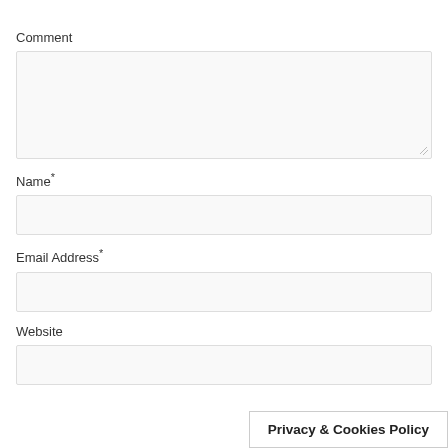Comment
[Figure (screenshot): Empty textarea input field for Comment]
Name*
[Figure (screenshot): Empty single-line input field for Name]
Email Address*
[Figure (screenshot): Empty single-line input field for Email Address]
Website
[Figure (screenshot): Empty single-line input field for Website]
Privacy & Cookies Policy